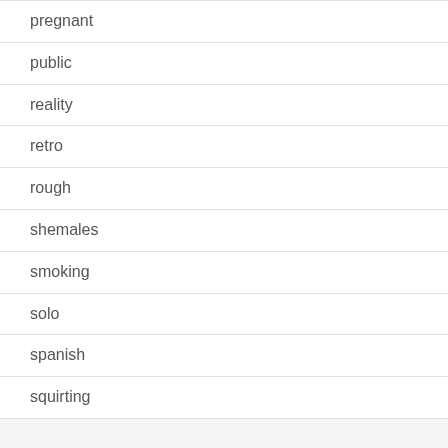pregnant
public
reality
retro
rough
shemales
smoking
solo
spanish
squirting